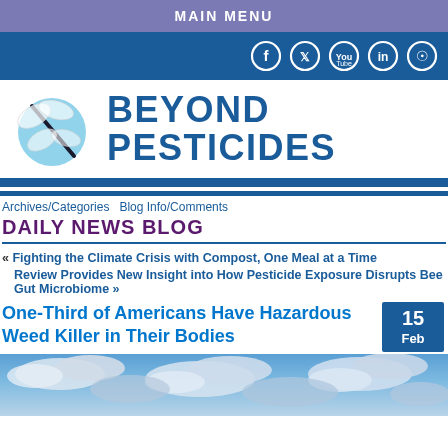MAIN MENU
[Figure (logo): Social media icons bar: Facebook, Twitter, YouTube, LinkedIn, RSS feed]
[Figure (logo): Beyond Pesticides logo with dragonfly illustration and bold text BEYOND PESTICIDES]
Archives/Categories  Blog Info/Comments
DAILY NEWS BLOG
« Fighting the Climate Crisis with Compost, One Meal at a Time
Review Provides New Insight into How Pesticide Exposure Disrupts Bee Gut Microbiome »
One-Third of Americans Have Hazardous Weed Killer in Their Bodies
15 Feb
[Figure (photo): Sky with clouds photo, article featured image]